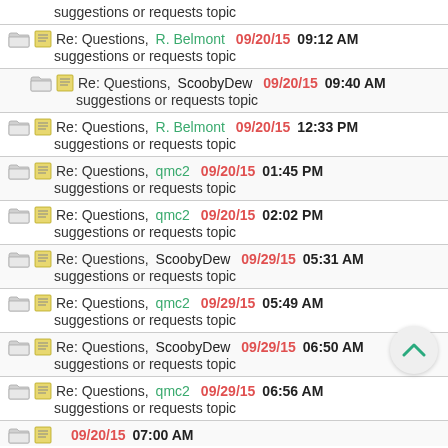suggestions or requests topic | 09/20/15 09:12 AM | R. Belmont | Re: Questions, suggestions or requests topic
ScoobyDew | 09/20/15 09:40 AM | Re: Questions, suggestions or requests topic
R. Belmont | 09/20/15 12:33 PM | Re: Questions, suggestions or requests topic
qmc2 | 09/20/15 01:45 PM | Re: Questions, suggestions or requests topic
qmc2 | 09/20/15 02:02 PM | Re: Questions, suggestions or requests topic
ScoobyDew | 09/29/15 05:31 AM | Re: Questions, suggestions or requests topic
qmc2 | 09/29/15 05:49 AM | Re: Questions, suggestions or requests topic
ScoobyDew | 09/29/15 06:50 AM | Re: Questions, suggestions or requests topic
qmc2 | 09/29/15 06:56 AM | Re: Questions, suggestions or requests topic
(partial row) 09/20/15 07:00 AM